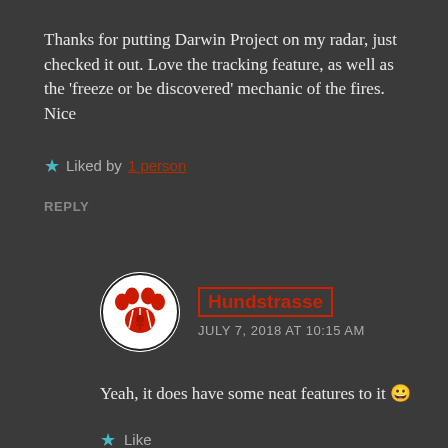Thanks for putting Darwin Project on my radar, just checked it out. Love the tracking feature, as well as the 'freeze or be discovered' mechanic of the fires. Nice one =)
★ Liked by 1 person
REPLY
[Figure (illustration): Circular avatar image showing a white/black paw print with red claw marks and a small red figure in the center, on a white background]
Hundstrasse
JULY 7, 2018 AT 10:15 AM
Yeah, it does have some neat features to it 😊
★ Like